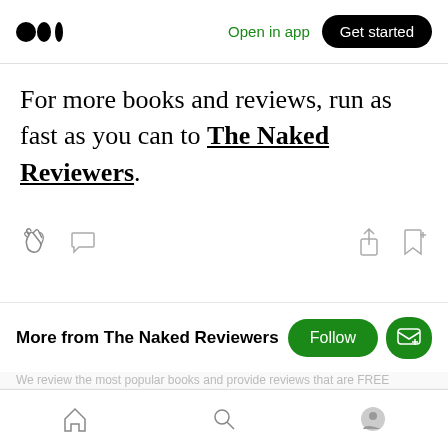[Figure (screenshot): Medium app header with logo, 'Open in app' link in green, and 'Get started' black pill button]
For more books and reviews, run as fast as you can to The Naked Reviewers.
[Figure (screenshot): Action icon row: clapping hands icon, speech bubble icon on left; share icon, bookmark-plus icon on right]
[Figure (screenshot): Floating pill with clapping hands and speech bubble icons]
More from The Naked Reviewers
[Figure (screenshot): Bottom navigation bar with home, search, and profile icons]